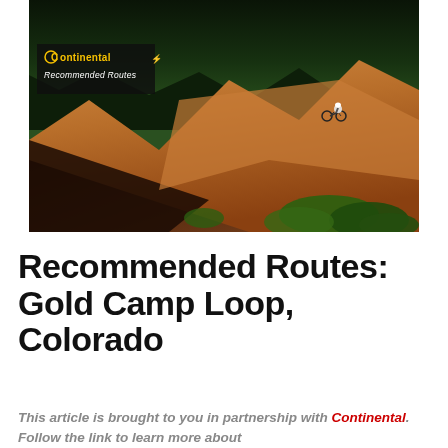[Figure (photo): Aerial/elevated photo of a mountain biker on a red dirt trail with rocky terrain and a dense conifer forest in the background in Colorado. A Continental Recommended Routes logo overlay appears in the top-left of the image.]
Recommended Routes: Gold Camp Loop, Colorado
This article is brought to you in partnership with Continental. Follow the link to learn more about